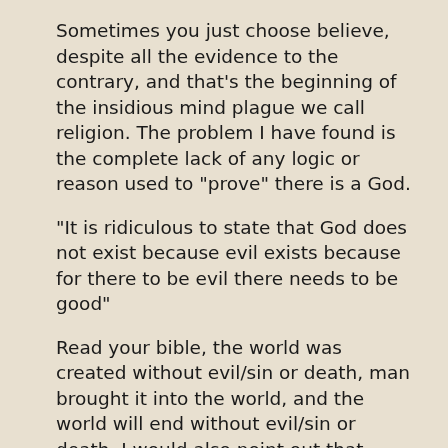Sometimes you just choose believe, despite all the evidence to the contrary, and that's the beginning of the insidious mind plague we call religion. The problem I have found is the complete lack of any logic or reason used to "prove" there is a God.
"It is ridiculous to state that God does not exist because evil exists because for there to be evil there needs to be good"
Read your bible, the world was created without evil/sin or death, man brought it into the world, and the world will end without evil/sin or death. I would also point out that before there was a world there was only god and if god is good then by your "faulty logic" evil had to exist with him, but since there was only god, in him. Then there is the paradox that god created everything, there is nothing that he did not create, thus if there is evil, he created it. So you could claim that because there is evil proves there is a god..... The problem of evil is a big issue and has been going on since the invention of god, check out http://en.wikipedia.org/wiki/Problem_of_evil